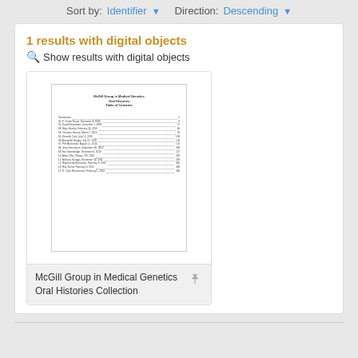Sort by: Identifier ▼  Direction: Descending ▼
1 results with digital objects  🔍 Show results with digital objects
[Figure (screenshot): Thumbnail of a document page showing 'McGill Group in Medical Genetics Oral Histories Collection' with a table of contents listing oral history interviews]
McGill Group in Medical Genetics Oral Histories Collection